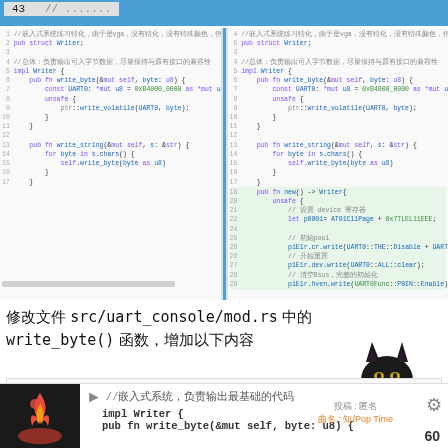43  // .......
[Figure (screenshot): Side-by-side code comparison showing Rust code for embedded Writer struct with write_byte and write_string implementations. Right panel has highlighted section showing new() function with unsafe block and UART initialization code.]
修改文件 src/uart_console/mod.rs 中的 write_byte() 函数，增加以下内容
[Figure (screenshot): Code block showing lines 1 and 2: comment about vga frame buffer and pub struct Writer;]
[Figure (screenshot): Bottom code area showing impl Writer { and pub fn write_byte(&mut self, byte: u8) {]
60